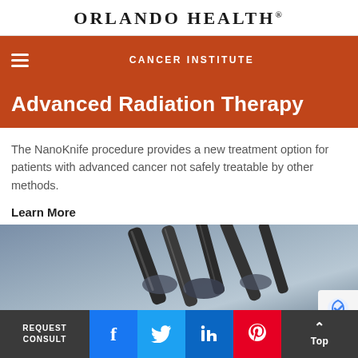Orlando Health®
CANCER INSTITUTE
Advanced Radiation Therapy
The NanoKnife procedure provides a new treatment option for patients with advanced cancer not safely treatable by other methods.
Learn More
[Figure (photo): Close-up photograph of medical radiation therapy device probes/needles used in the NanoKnife procedure, shown in gray-blue tones]
REQUEST CONSULT | Facebook | Twitter | LinkedIn | Pinterest | Top